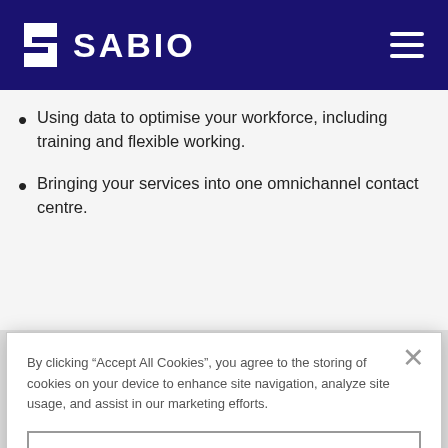SABIO
Using data to optimise your workforce, including training and flexible working.
Bringing your services into one omnichannel contact centre.
By clicking “Accept All Cookies”, you agree to the storing of cookies on your device to enhance site navigation, analyze site usage, and assist in our marketing efforts.
Cookies Settings
Reject All
Accept All Cookies